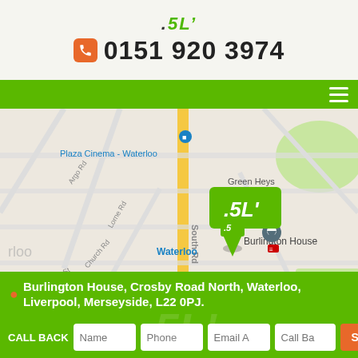.SL 0151 920 3974
[Figure (map): Google map showing Burlington House on Crosby Road North, Waterloo area, with landmarks including Plaza Cinema Waterloo, Waterloo train station, Green Heys, South Rd, Church Rd, Walmer Rd, Crosby Police Station, Brook Recreation Ground]
Burlington House, Crosby Road North, Waterloo, Liverpool, Merseyside, L22 0PJ.
CALL BACK   Name  Phone  Email A  Call Ba  Send